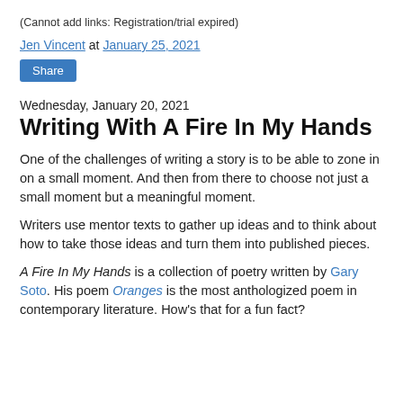(Cannot add links: Registration/trial expired)
Jen Vincent at January 25, 2021
Share
Wednesday, January 20, 2021
Writing With A Fire In My Hands
One of the challenges of writing a story is to be able to zone in on a small moment. And then from there to choose not just a small moment but a meaningful moment.
Writers use mentor texts to gather up ideas and to think about how to take those ideas and turn them into published pieces.
A Fire In My Hands is a collection of poetry written by Gary Soto. His poem Oranges is the most anthologized poem in contemporary literature. How's that for a fun fact?